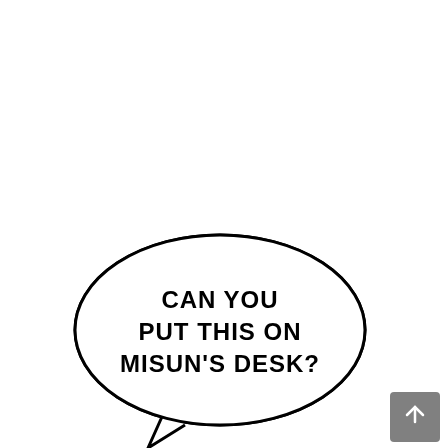[Figure (illustration): A manga/comic speech bubble (oval shape with a tail pointing downward-left) containing the text 'CAN YOU PUT THIS ON MISUN'S DESK?' in bold uppercase letters. The bubble is outlined in black on a white background. A small dark gray square button with an upward arrow is in the bottom-right corner.]